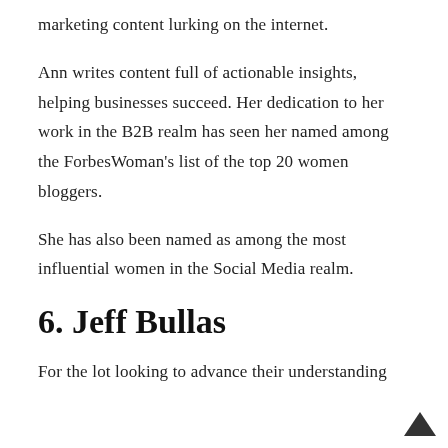marketing content lurking on the internet.
Ann writes content full of actionable insights, helping businesses succeed. Her dedication to her work in the B2B realm has seen her named among the ForbesWoman's list of the top 20 women bloggers.
She has also been named as among the most influential women in the Social Media realm.
6. Jeff Bullas
For the lot looking to advance their understanding